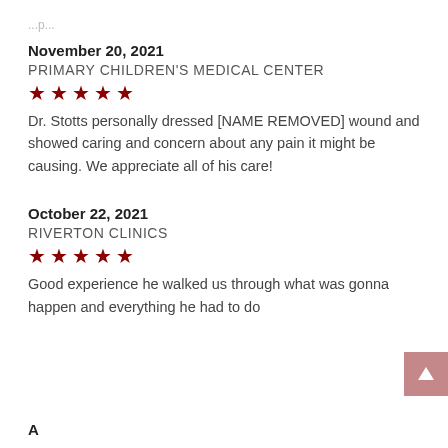...p...
November 20, 2021
PRIMARY CHILDREN'S MEDICAL CENTER
[Figure (other): 5 red stars rating]
Dr. Stotts personally dressed [NAME REMOVED] wound and showed caring and concern about any pain it might be causing. We appreciate all of his care!
October 22, 2021
RIVERTON CLINICS
[Figure (other): 5 red stars rating]
Good experience he walked us through what was gonna happen and everything he had to do
August (partial date cut off)